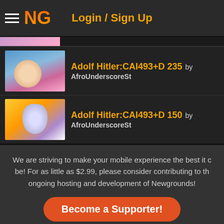Login / Sign Up
Adolf Hitler:CAI493+D 235 by AfroUnderscoreSt
Adolf Hitler:CAI493+D 150 by AfroUnderscoreSt
We are striving to make your mobile experience the best it can be! For as little as $2.99, please consider contributing to the ongoing hosting and development of Newgrounds!
Become a Supporter!
Sort By: Date Score
1 2 3